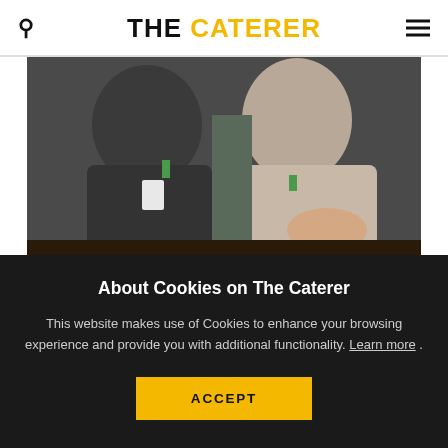THE CATERER
[Figure (photo): Two men in business attire seated at a table, one in a dark jacket with a name badge, one in a light grey blazer with hands clasped]
About Cookies on The Caterer
This website makes use of Cookies to enhance your browsing experience and provide you with additional functionality. Learn more .
ACCEPT